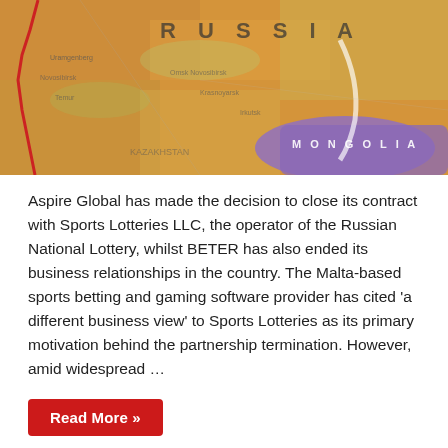[Figure (map): Map showing Russia and surrounding regions including Mongolia, with terrain coloring in orange/yellow and purple for Mongolia.]
Aspire Global has made the decision to close its contract with Sports Lotteries LLC, the operator of the Russian National Lottery, whilst BETER has also ended its business relationships in the country. The Malta-based sports betting and gaming software provider has cited 'a different business view' to Sports Lotteries as its primary motivation behind the partnership termination. However, amid widespread …
Read More »
[Figure (other): Social media sharing buttons: Facebook (f), Twitter (bird), LinkedIn (in)]
European Lotteries urges EU Council to omit online gambling references from DSA